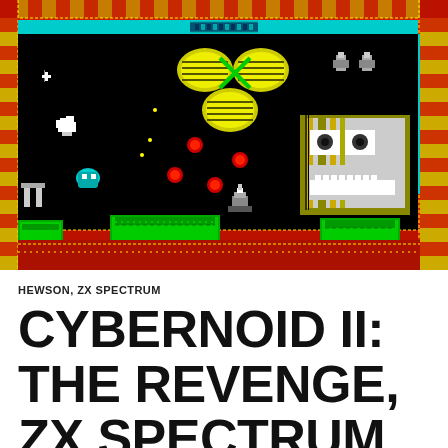[Figure (screenshot): ZX Spectrum gameplay screenshot of Cybernoid II: The Revenge. Shows a dark space scene with a ornate red and yellow tiled border, cyan horizontal bars at top, green platform blocks at bottom, the player ship, various enemies including a large creature on the right, red projectiles, and pixel-art decorative elements.]
HEWSON, ZX SPECTRUM
CYBERNOID II: THE REVENGE, ZX SPECTRUM